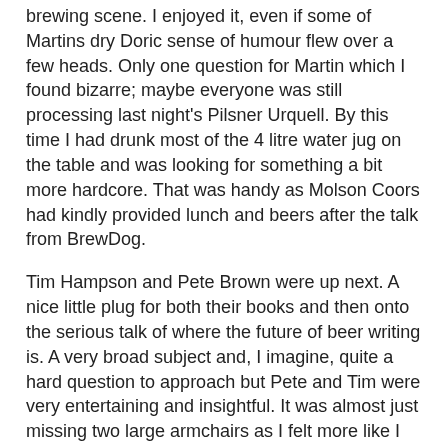brewing scene. I enjoyed it, even if some of Martins dry Doric sense of humour flew over a few heads. Only one question for Martin which I found bizarre; maybe everyone was still processing last night's Pilsner Urquell. By this time I had drunk most of the 4 litre water jug on the table and was looking for something a bit more hardcore. That was handy as Molson Coors had kindly provided lunch and beers after the talk from BrewDog.
Tim Hampson and Pete Brown were up next. A nice little plug for both their books and then onto the serious talk of where the future of beer writing is. A very broad subject and, I imagine, quite a hard question to approach but Pete and Tim were very entertaining and insightful. It was almost just missing two large armchairs as I felt more like I was sitting in one of their living rooms listening to them have a conversation rather than in a conference venue with 60 or so others. Next we were ushered back downstairs to the same room that Steve Wellington had given his retirement speech in the previous night. It was for the odious task of matching beer with food; it's a tough life but someone has to do it. The Beer Academy provided 5 beers and five little pieces of food